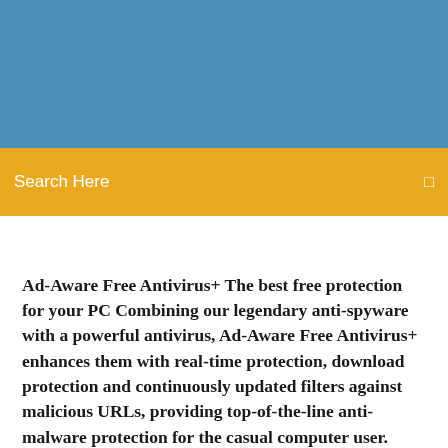[Figure (other): Blue header banner background]
Search Here
Ad-Aware Free Antivirus+ The best free protection for your PC Combining our legendary anti-spyware with a powerful antivirus, Ad-Aware Free Antivirus+ enhances them with real-time protection, download protection and continuously updated filters against malicious URLs, providing top-of-the-line anti-malware protection for the casual computer user.